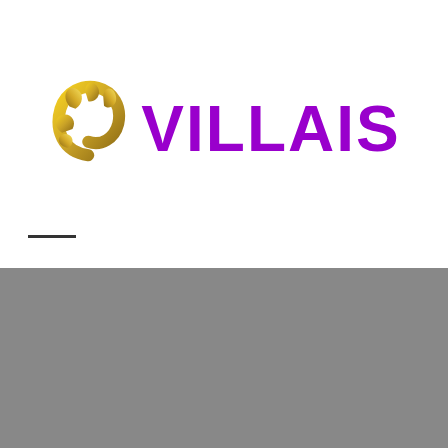[Figure (logo): Villais logo with gold swirl/wave graphic element and purple bold text VILLAIS]
HOME > LOANS > EVERYTHING YOU NEED TO KNOW ABOUT DALLAS MESOTHELIOMA ATTORNEYS